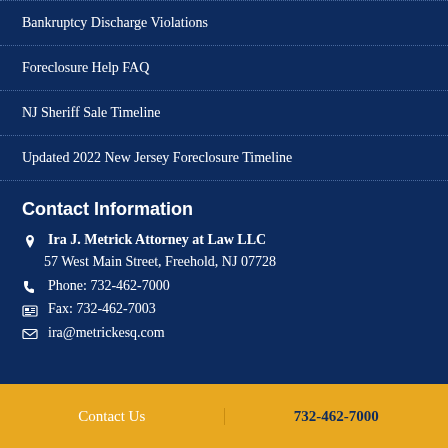Bankruptcy Discharge Violations
Foreclosure Help FAQ
NJ Sheriff Sale Timeline
Updated 2022 New Jersey Foreclosure Timeline
Contact Information
Ira J. Metrick Attorney at Law LLC
57 West Main Street, Freehold, NJ 07728
Phone: 732-462-7000
Fax: 732-462-7003
ira@metrickesq.com
Contact Us | 732-462-7000